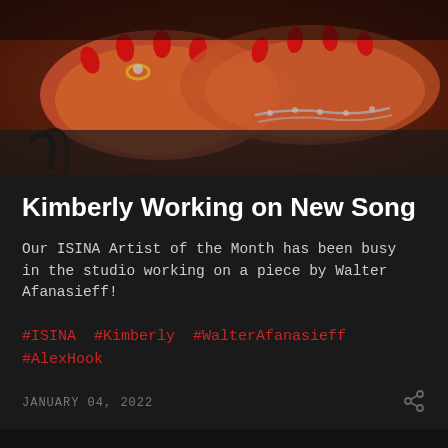[Figure (photo): Close-up photo of hands with red painted nails and chain bracelets on a warm reddish-orange background]
Kimberly Working on New Song
Our ISINA Artist of the Month has been busy in the studio working on a piece by Walter Afanasieff!
#ISINA #Kimberly #WalterAfanasieff #AlexHook
JANUARY 04, 2022